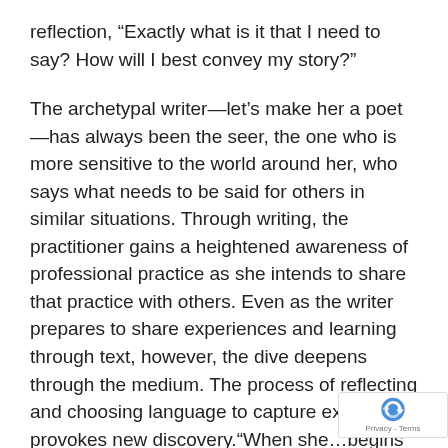reflection, “Exactly what is it that I need to say? How will I best convey my story?”
The archetypal writer—let’s make her a poet—has always been the seer, the one who is more sensitive to the world around her, who says what needs to be said for others in similar situations. Through writing, the practitioner gains a heightened awareness of professional practice as she intends to share that practice with others. Even as the writer prepares to share experiences and learning through text, however, the dive deepens through the medium. The process of reflecting and choosing language to capture experience provokes new discovery.“When she…begins to perceive the close relationships between language thought and reality in her...